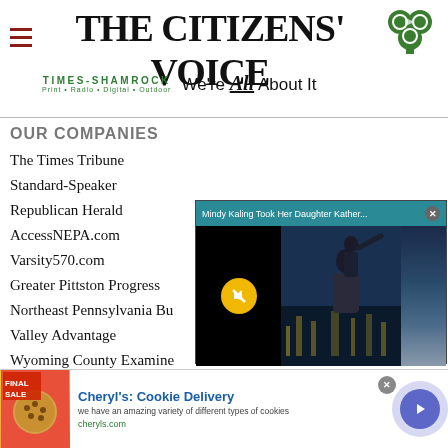[Figure (logo): The Citizens' Voice newspaper masthead logo with Times-Shamrock tagline and green shamrock icon]
OUR COMPANIES
The Times Tribune
Standard-Speaker
Republican Herald
AccessNEPA.com
Varsity570.com
Greater Pittston Progress
Northeast Pennsylvania Bu[siness Journal]
Valley Advantage
Wyoming County Examine[r]
[Figure (screenshot): Video overlay popup: 'Mindy Kaling Took Her Daughter Kather...' with video thumbnail of adult and child with city background and mute button]
[Figure (screenshot): Advertisement: Cheryl's Cookie Delivery - 'we have an amazing variety of different types of cookies' - cheryls.com]